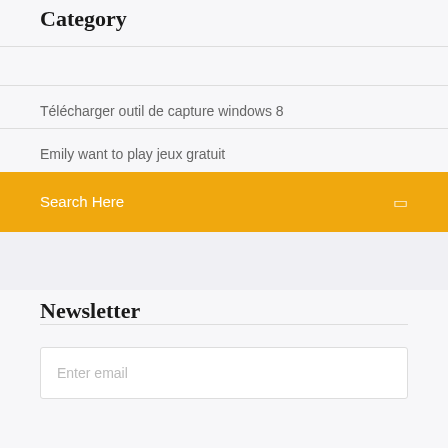Category
Télécharger outil de capture windows 8
Emily want to play jeux gratuit
Search Here
Newsletter
Enter email